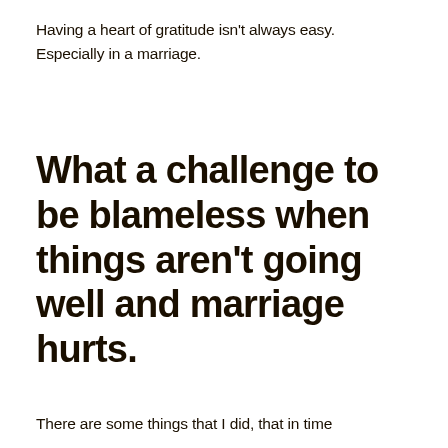Having a heart of gratitude isn't always easy. Especially in a marriage.
What a challenge to be blameless when things aren't going well and marriage hurts.
There are some things that I did, that in time